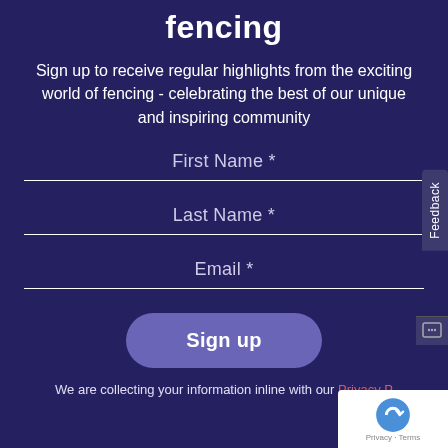fencing
Sign up to receive regular highlights from the exciting world of fencing - celebrating the best of our unique and inspiring community
First Name *
Last Name *
Email *
Sign up
We are collecting your information inline with our Privacy P